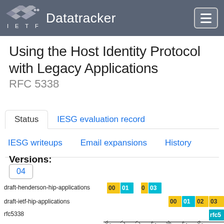IETF Datatracker
Using the Host Identity Protocol with Legacy Applications
RFC 5338
Status | IESG evaluation record | IESG writeups | Email expansions | History
Versions:
04
[Figure (bar-chart): Document version timeline]